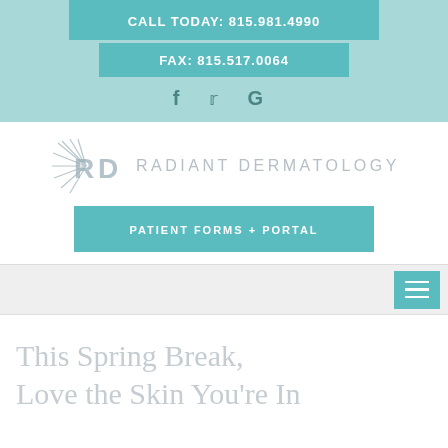CALL TODAY: 815.981.4990
FAX: 815.517.0064
[Figure (logo): Social media icons: Facebook (f), Twitter (bird), Google (G)]
[Figure (logo): Radiant Dermatology logo with RD sun-ray emblem and text RADIANT DERMATOLOGY]
PATIENT FORMS + PORTAL
This Spring Break, Love the Skin You're In